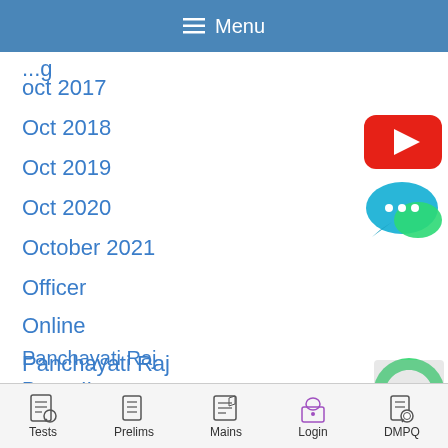≡ Menu
oct 2017
Oct 2018
Oct 2019
Oct 2020
October 2021
Officer
Online
Panchayati Raj
Paper II
Paper III
Paper IV
[Figure (logo): YouTube play button icon (red rounded rectangle with white triangle)]
[Figure (logo): Chat bubble icon (blue/teal with three dots)]
[Figure (logo): WhatsApp icon (green circle with phone handset)]
Tests  Prelims  Mains  Login  DMPQ